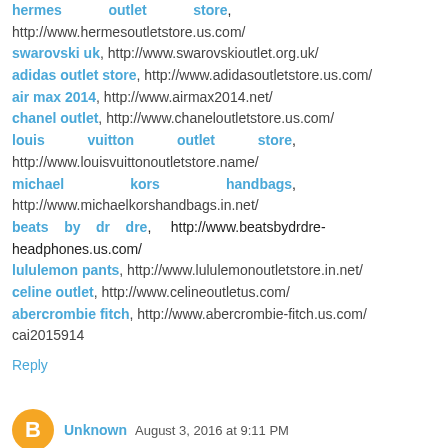hermes outlet store, http://www.hermesoutletstore.us.com/
swarovski uk, http://www.swarovskioutlet.org.uk/
adidas outlet store, http://www.adidasoutletstore.us.com/
air max 2014, http://www.airmax2014.net/
chanel outlet, http://www.chaneloutletstore.us.com/
louis vuitton outlet store, http://www.louisvuittonoutletstore.name/
michael kors handbags, http://www.michaelkorshandbags.in.net/
beats by dr dre, http://www.beatsbydrdre-headphones.us.com/
lululemon pants, http://www.lululemonoutletstore.in.net/
celine outlet, http://www.celineoutletus.com/
abercrombie fitch, http://www.abercrombie-fitch.us.com/
cai2015914
Reply
Unknown  August 3, 2016 at 9:11 PM
cheap oakley sunglasses
canada goose jackets